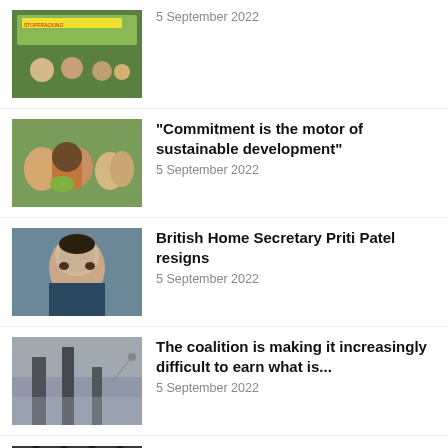[Figure (photo): Protest scene with people holding banner, green and yellow tones]
5 September 2022
[Figure (photo): Group of people including woman with flowers in a garden setting]
“Commitment is the motor of sustainable development”
5 September 2022
[Figure (photo): Portrait of Priti Patel, British Home Secretary]
British Home Secretary Priti Patel resigns
5 September 2022
[Figure (photo): Industrial chimneys and wind turbine against grey sky]
The coalition is making it increasingly difficult to earn what is...
5 September 2022
[Figure (photo): Dark building facade, partial view of Berlin architecture]
Berlin collects around 4.6 million euros in Energchat proceedings...